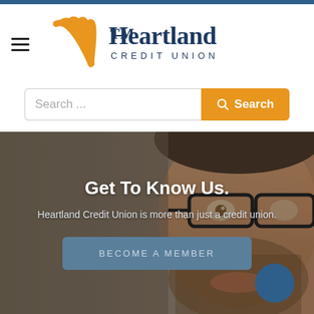[Figure (logo): Heartland Credit Union logo with orange fan/book pages graphic and dark blue text reading 'Heartland CREDIT UNION']
[Figure (screenshot): Search bar with placeholder 'Search ...' and orange Search button with magnifying glass icon]
[Figure (photo): Close-up photo of a smiling man with glasses and beard, used as hero banner background. Overlaid text: 'Get To Know Us.' and 'Heartland Credit Union is more than just a credit union.' with a 'BECOME A MEMBER' button.]
Get To Know Us.
Heartland Credit Union is more than just a credit union.